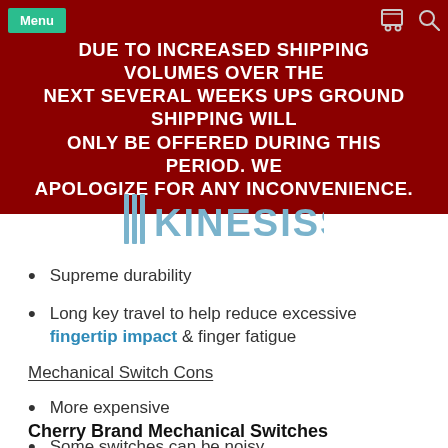DUE TO INCREASED SHIPPING VOLUMES OVER THE NEXT SEVERAL WEEKS UPS GROUND SHIPPING WILL ONLY BE OFFERED DURING THIS PERIOD. WE APOLOGIZE FOR ANY INCONVENIENCE.
[Figure (logo): Kinesis brand logo with vertical bar lines and KINESISS text in blue-grey]
Supreme durability
Long key travel to help reduce excessive fingertip impact & finger fatigue
Mechanical Switch Cons
More expensive
Some switches can be noisy
Cherry Brand Mechanical Switches